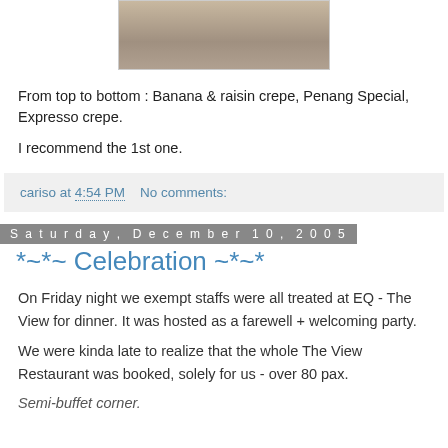[Figure (photo): Photo of food items on a white plate]
From top to bottom : Banana & raisin crepe, Penang Special, Expresso crepe.
I recommend the 1st one.
cariso at 4:54 PM    No comments:
Saturday, December 10, 2005
*~*~ Celebration ~*~*
On Friday night we exempt staffs were all treated at EQ - The View for dinner. It was hosted as a farewell + welcoming party.
We were kinda late to realize that the whole The View Restaurant was booked, solely for us - over 80 pax.
Semi-buffet corner.